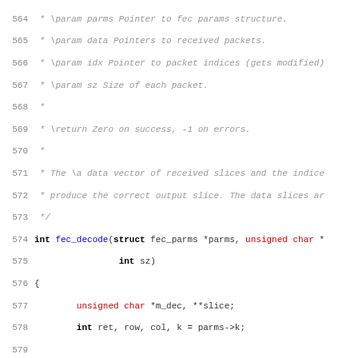[Figure (screenshot): Source code listing (C) showing lines 564-595 of a fec_decode function with syntax highlighting. Line numbers in gray, keywords in bold, blue for function/variable names, red for types, comments in gray italic.]